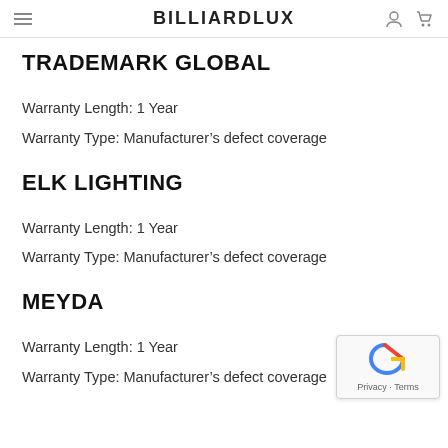BILLIARDLUX
TRADEMARK GLOBAL
Warranty Length: 1 Year
Warranty Type: Manufacturer's defect coverage
ELK LIGHTING
Warranty Length: 1 Year
Warranty Type: Manufacturer's defect coverage
MEYDA
Warranty Length: 1 Year
Warranty Type: Manufacturer's defect coverage